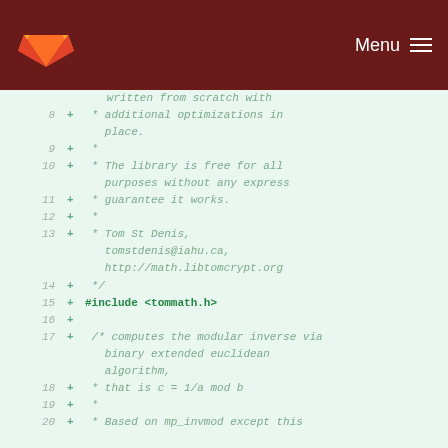GitLab — Menu
[Figure (screenshot): Code diff view showing lines 8-20 of a C source file with added lines (green +) on a light green background, including #include <tommath.h> and comments about the library being free and computing modular inverse via binary extended euclidean algorithm.]